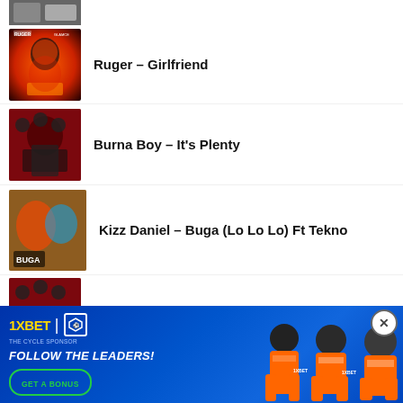[Figure (photo): Partial album art thumbnail at top, cropped]
Ruger – Girlfriend
Burna Boy – It's Plenty
Kizz Daniel – Buga (Lo Lo Lo) Ft Tekno
Burna Boy – Common Person
[Figure (infographic): 1XBET advertisement banner with football players, Follow The Leaders slogan, and Get A Bonus button]